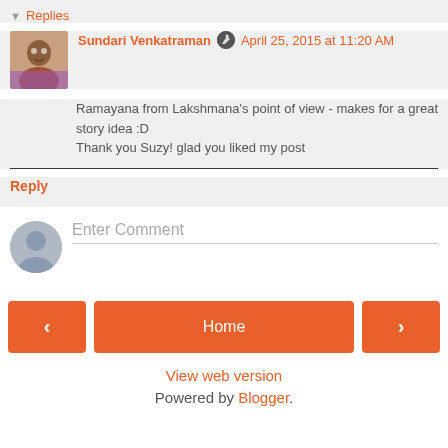Replies
Sundari Venkatraman — April 25, 2015 at 11:20 AM
Ramayana from Lakshmana's point of view - makes for a great story idea :D
Thank you Suzy! glad you liked my post
Reply
Enter Comment
Home
View web version
Powered by Blogger.